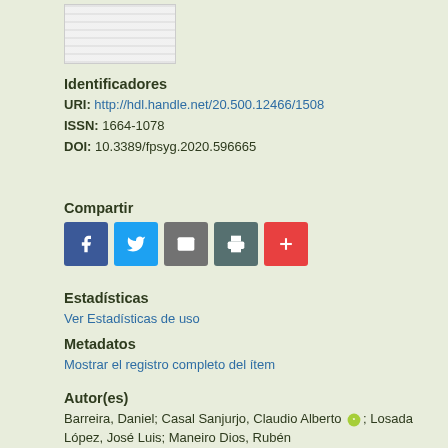[Figure (other): Thumbnail image of a document page]
Identificadores
URI: http://hdl.handle.net/20.500.12466/1508
ISSN: 1664-1078
DOI: 10.3389/fpsyg.2020.596665
Compartir
[Figure (other): Social sharing buttons: Facebook, Twitter, Email, Print, More (+)]
Estadísticas
Ver Estadísticas de uso
Metadatos
Mostrar el registro completo del ítem
Autor(es)
Barreira, Daniel; Casal Sanjurjo, Claudio Alberto [orcid]; Losada López, José Luis; Maneiro Dios, Rubén